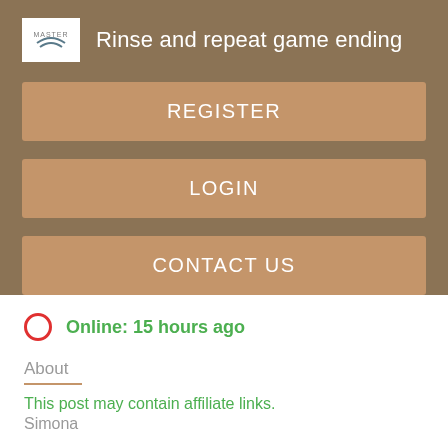Rinse and repeat game ending
REGISTER
LOGIN
CONTACT US
Online: 15 hours ago
About
This post may contain affiliate links.
Simona